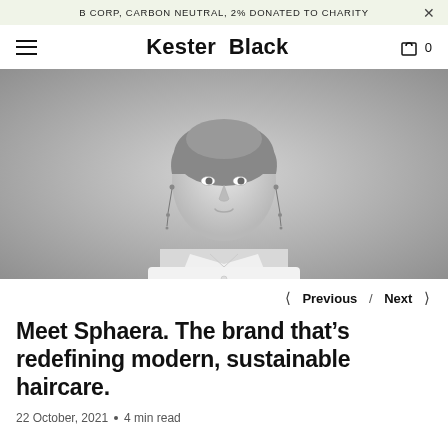B CORP, CARBON NEUTRAL, 2% DONATED TO CHARITY
Kester Black
[Figure (photo): Black and white portrait photograph of a woman with hair pulled back, wearing long drop earrings and a white collared shirt, looking slightly off-camera with a neutral expression.]
< Previous / Next >
Meet Sphaera. The brand that’s redefining modern, sustainable haircare.
22 October, 2021 • 4 min read